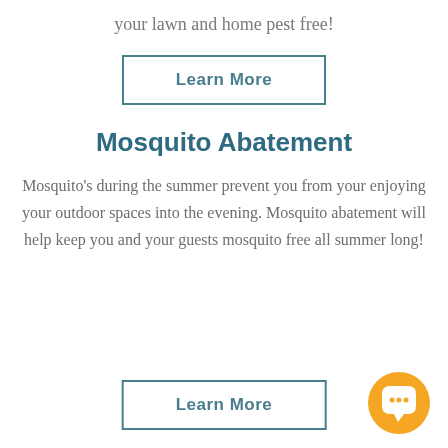your lawn and home pest free!
[Figure (other): Button with border: Learn More]
Mosquito Abatement
Mosquito's during the summer prevent you from your enjoying your outdoor spaces into the evening. Mosquito abatement will help keep you and your guests mosquito free all summer long!
[Figure (other): Button with border: Learn More]
[Figure (other): Orange circular chat/speech bubble icon in bottom right corner]